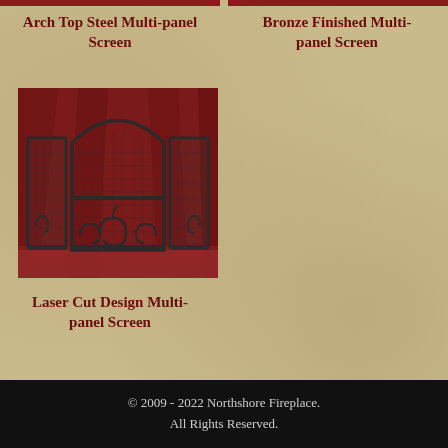Arch Top Steel Multi-panel Screen
Bronze Finished Multi-panel Screen
[Figure (photo): A three-panel fireplace screen with arched top and decorative laser-cut scrollwork design at the bottom, dark metal finish, photographed against a red fabric background.]
Laser Cut Design Multi-panel Screen
© 2009 - 2022 Northshore Fireplace. All Rights Reserved.